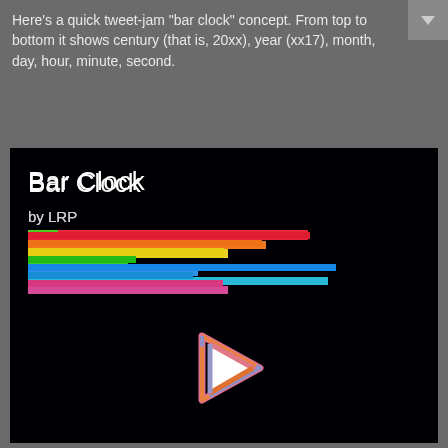Here's a quick tweet-jam "bar clock" concept. From top to bottom it shows century (that is, 20xx), year (xx17), month, day, hour, minute, second.
[Figure (screenshot): A dark/black game or animation canvas titled 'Bar Clock by LRP' showing colorful horizontal bars (rainbow colors: red, orange, yellow, green, blue, purple/pink) of varying lengths near the top-left, and a play button triangle icon in the center-lower area with a colorful outline (pink top, orange right, purple/lavender bottom).]